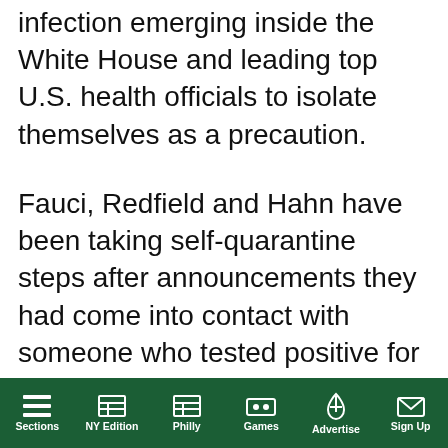infection emerging inside the White House and leading top U.S. health officials to isolate themselves as a precaution.
Fauci, Redfield and Hahn have been taking self-quarantine steps after announcements they had come into contact with someone who tested positive for the virus, which causes the highly contagious respiratory disease COVID-19.
[Figure (screenshot): Video popup overlay showing 'AP correspondents reflect on the d...' with a black video area containing a yellow mute button with speaker-off icon and a teal loading arc. A close (X) button appears in the header.]
nd Pensions ander is also self- Tennessee for 14 tested positive. He s office said on
Sections  NY Edition  Philly  Games  Advertise  Sign Up